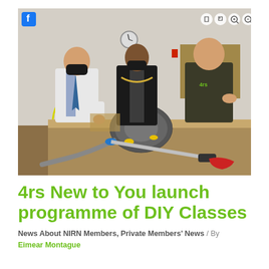[Figure (photo): Three men standing in a workshop/repair room. Two on the left wear face masks; the leftmost wears a white shirt and tie, the middle wears a black suit with a mayoral chain. The man on the right wears a dark t-shirt with '4rs' logo and gestures while speaking. On a table in the foreground lie disassembled appliance parts including a vacuum cleaner body and hose. Filing cabinets and shelving are visible in the background. A Facebook icon overlay appears top-left and zoom/tag icons appear top-right.]
4rs New to You launch programme of DIY Classes
News About NIRN Members, Private Members' News / By Eimear Montague